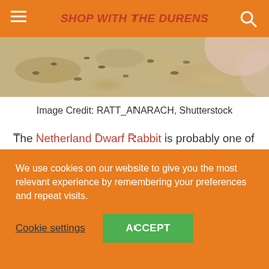SHOP WITH THE DURENS
[Figure (photo): Close-up photo of insects (bees/flies) on a surface, partially cropped]
Image Credit: RATT_ANARACH, Shutterstock
The Netherland Dwarf Rabbit is probably one of the more popular varieties of this type. it began life across the pond in the country in its name. It's a favorite of breeders, too, with 25 recognized color variations.
We use cookies on our website to give you the most relevant experience by remembering your preferences and repeat visits.
Cookie settings   ACCEPT